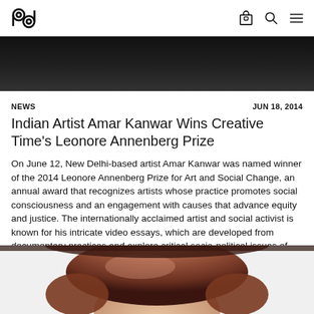logo | bag icon | search icon | menu icon
[Figure (photo): Dark background photo at the top, partially visible, showing a dark scene]
NEWS | JUN 18, 2014
Indian Artist Amar Kanwar Wins Creative Time's Leonore Annenberg Prize
On June 12, New Delhi-based artist Amar Kanwar was named winner of the 2014 Leonore Annenberg Prize for Art and Social Change, an annual award that recognizes artists whose practice promotes social consciousness and an engagement with causes that advance equity and justice. The internationally acclaimed artist and social activist is known for his intricate video essays, which are developed from documentary practices and explore critical socio-political issues of the Indian subcontinent.
JACQUELINE LIU
[Figure (photo): Bottom portion of page showing the top of a person's head with reddish-brown hair]